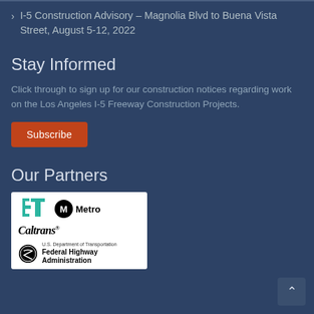I-5 Construction Advisory – Magnolia Blvd to Buena Vista Street, August 5-12, 2022
Stay Informed
Click through to sign up for our construction notices regarding work on the Los Angeles I-5 Freeway Construction Projects.
[Figure (other): Orange 'Subscribe' button]
Our Partners
[Figure (logo): Partner logos: CT (Caltrans Connects), Metro, Caltrans, U.S. Department of Transportation Federal Highway Administration]